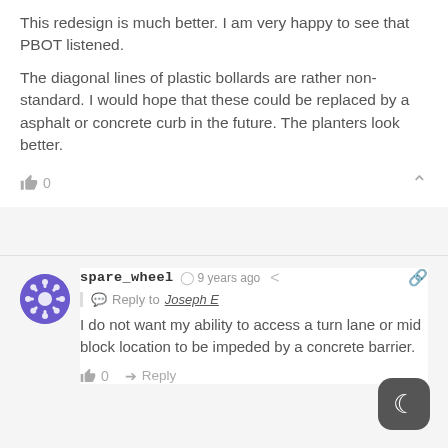This redesign is much better. I am very happy to see that PBOT listened.
The diagonal lines of plastic bollards are rather non-standard. I would hope that these could be replaced by a asphalt or concrete curb in the future. The planters look better.
👍 0
spare_wheel  🕐 9 years ago  🔗
Reply to Joseph E
I do not want my ability to access a turn lane or mid block location to be impeded by a concrete barrier.
👍 0  ➜ Reply